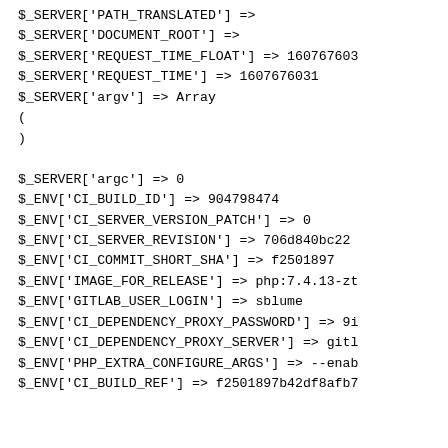$_SERVER['PATH_TRANSLATED'] =>
$_SERVER['DOCUMENT_ROOT'] =>
$_SERVER['REQUEST_TIME_FLOAT'] => 160767603
$_SERVER['REQUEST_TIME'] => 1607676031
$_SERVER['argv'] => Array
(
)

$_SERVER['argc'] => 0
$_ENV['CI_BUILD_ID'] => 904798474
$_ENV['CI_SERVER_VERSION_PATCH'] => 0
$_ENV['CI_SERVER_REVISION'] => 706d840bc22
$_ENV['CI_COMMIT_SHORT_SHA'] => f2501897
$_ENV['IMAGE_FOR_RELEASE'] => php:7.4.13-zt
$_ENV['GITLAB_USER_LOGIN'] => sblume
$_ENV['CI_DEPENDENCY_PROXY_PASSWORD'] => 9i
$_ENV['CI_DEPENDENCY_PROXY_SERVER'] => gitl
$_ENV['PHP_EXTRA_CONFIGURE_ARGS'] => --enab
$_ENV['CI_BUILD_REF'] => f2501897b42df8afb7